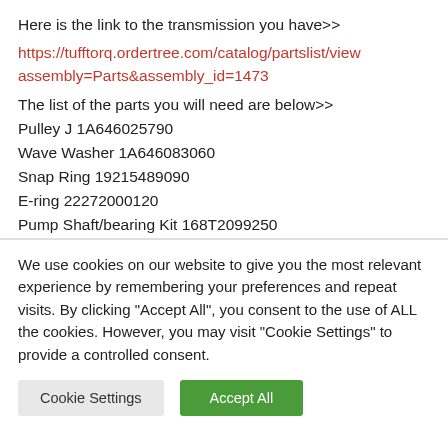Here is the link to the transmission you have>>
https://tufftorq.ordertree.com/catalog/partslist/view assembly=Parts&assembly_id=1473
The list of the parts you will need are below>>
Pulley J 1A646025790
Wave Washer 1A646083060
Snap Ring 19215489090
E-ring 22272000120
Pump Shaft/bearing Kit 168T2099250
We use cookies on our website to give you the most relevant experience by remembering your preferences and repeat visits. By clicking "Accept All", you consent to the use of ALL the cookies. However, you may visit "Cookie Settings" to provide a controlled consent.